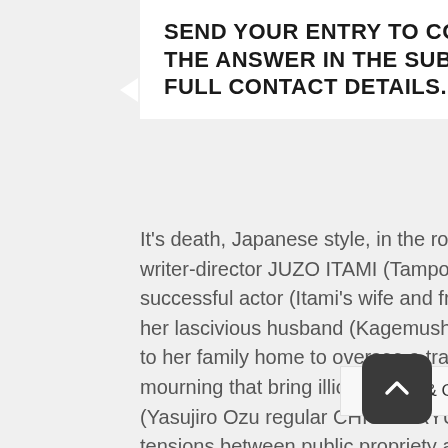SEND YOUR ENTRY TO COMPETITIONS@FILMJUICE.COM WITH THE ANSWER IN THE SUBJECT LINE OF YOUR EMAIL. INCLUDE FULL CONTACT DETAILS. GOOD LUCK!
It's death, Japanese style, in the rollicking and wistful first feature from maverick writer-director JUZO ITAMI (Tampopo). In the wake of her father's sudden passing, a successful actor (Itami's wife and frequent collaborator, NOBUKO MIYAMOTO) and her lascivious husband (Kagemusha's TSUTOMU YAMAZAKI) leave Tokyo and return to her family home to oversee a traditional funeral. Over the course of three days of mourning that bring illicit escapades in the woods, a surprisingly materialistic priest (Yasujiro Ozu regular CHISHU RYU), and cinema's most epic sandwich handoff, the tensions between public propriety and private hypocrisy are laid bare. Deftly weaving dark comedy with poignant family drama, The Funeral is a fearless satire of the clash between old and new in Japanese society in which nothing, not...
Privacy & Cookies Policy